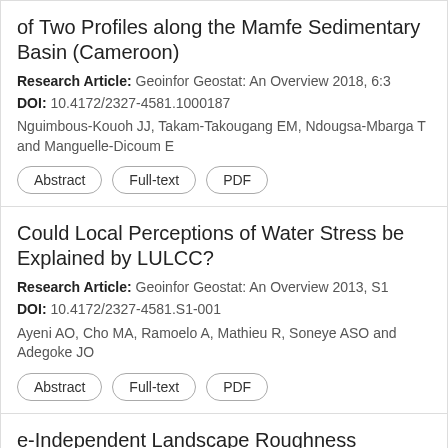of Two Profiles along the Mamfe Sedimentary Basin (Cameroon)
Research Article: Geoinfor Geostat: An Overview 2018, 6:3
DOI: 10.4172/2327-4581.1000187
Nguimbous-Kouoh JJ, Takam-Takougang EM, Ndougsa-Mbarga T and Manguelle-Dicoum E
Abstract
Full-text
PDF
Could Local Perceptions of Water Stress be Explained by LULCC?
Research Article: Geoinfor Geostat: An Overview 2013, S1
DOI: 10.4172/2327-4581.S1-001
Ayeni AO, Cho MA, Ramoelo A, Mathieu R, Soneye ASO and Adegoke JO
Abstract
Full-text
PDF
e-Independent Landscape Roughness urement of Local Con
[Figure (other): WhatsApp chat bubble overlay showing 'Leave a message' with a green WhatsApp icon and a plus (+) button on a dark background]